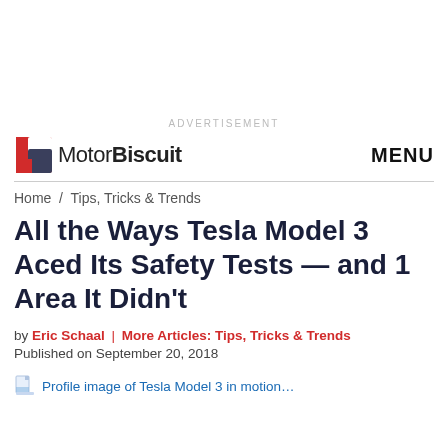ADVERTISEMENT
MotorBiscuit   MENU
Home / Tips, Tricks & Trends
All the Ways Tesla Model 3 Aced Its Safety Tests — and 1 Area It Didn't
by Eric Schaal | More Articles: Tips, Tricks & Trends
Published on September 20, 2018
Profile image of Tesla Model 3 in motion...